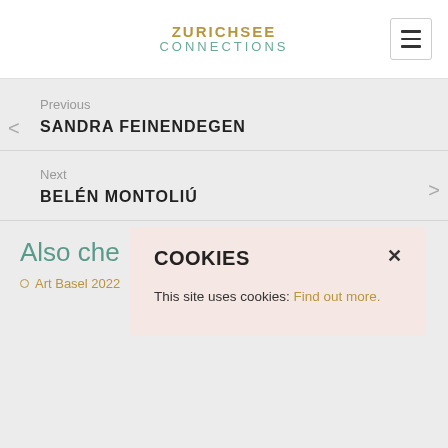ZURICHSEE CONNECTIONS
Previous
SANDRA FEINENDEGEN
Next
BELÉN MONTOLIÚ
Also che
Art Basel 2022
COOKIES
This site uses cookies: Find out more.